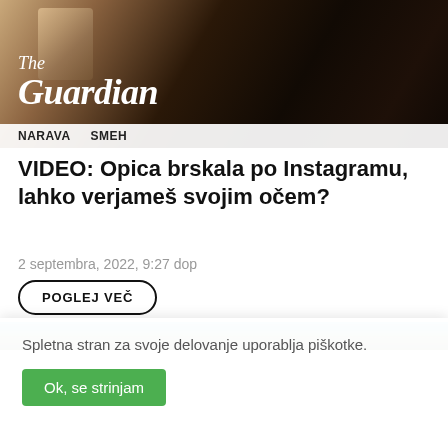[Figure (photo): A primate (chimpanzee/monkey) holding a smartphone, with The Guardian logo overlay. Tags 'NARAVA' and 'SMEH' visible at bottom of image.]
VIDEO: Opica brskala po Instagramu, lahko verjameš svojim očem?
2 septembra, 2022, 9:27 dop
POGLEJ VEČ
[Figure (photo): Partial image visible at bottom, showing outdoor scene with blue sky and rocky terrain.]
Spletna stran za svoje delovanje uporablja piškotke.
Ok, se strinjam